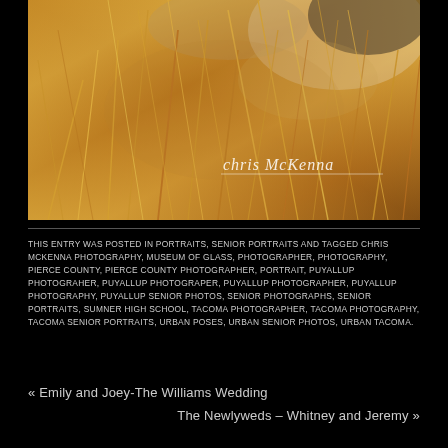[Figure (photo): Close-up photograph of a couple lying in tall golden wheat/grass field, with a handwritten watermark signature reading 'Chris McKenna' in white cursive in the lower right area of the photo.]
THIS ENTRY WAS POSTED IN PORTRAITS, SENIOR PORTRAITS AND TAGGED CHRIS MCKENNA PHOTOGRAPHY, MUSEUM OF GLASS, PHOTOGRAPHER, PHOTOGRAPHY, PIERCE COUNTY, PIERCE COUNTY PHOTOGRAPHER, PORTRAIT, PUYALLUP PHOTOGRAHER, PUYALLUP PHOTOGRAPER, PUYALLUP PHOTOGRAPHER, PUYALLUP PHOTOGRAPHY, PUYALLUP SENIOR PHOTOS, SENIOR PHOTOGRAPHS, SENIOR PORTRAITS, SUMNER HIGH SCHOOL, TACOMA PHOTOGRAPHER, TACOMA PHOTOGRAPHY, TACOMA SENIOR PORTRAITS, URBAN POSES, URBAN SENIOR PHOTOS, URBAN TACOMA.
« Emily and Joey-The Williams Wedding
The Newlyweds – Whitney and Jeremy »